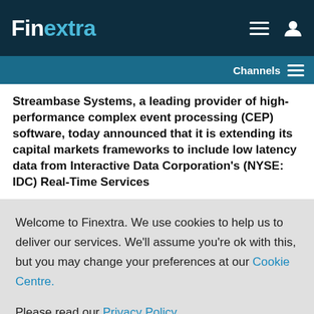Finextra
Streambase Systems, a leading provider of high-performance complex event processing (CEP) software, today announced that it is extending its capital markets frameworks to include low latency data from Interactive Data Corporation's (NYSE: IDC) Real-Time Services
Welcome to Finextra. We use cookies to help us to deliver our services. We'll assume you're ok with this, but you may change your preferences at our Cookie Centre. Please read our Privacy Policy.